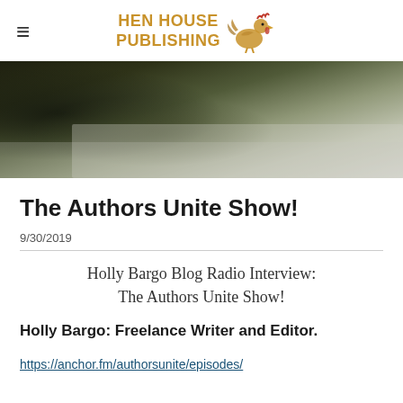HEN HOUSE PUBLISHING
[Figure (photo): Dark moody hero image showing what appears to be a hand or glove on a light surface, with dark tones in upper left transitioning to lighter grays at lower right]
The Authors Unite Show!
9/30/2019
Holly Bargo Blog Radio Interview: The Authors Unite Show!
Holly Bargo: Freelance Writer and Editor.
https://anchor.fm/authorsunite/episodes/